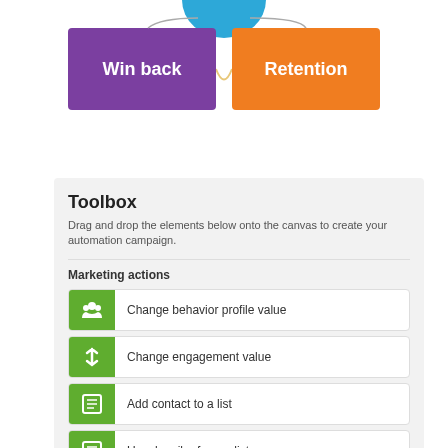[Figure (infographic): Two colored boxes labeled Win back (purple) and Retention (orange) connected by a curved line, with a partial circular element at the top center.]
Toolbox
Drag and drop the elements below onto the canvas to create your automation campaign.
Marketing actions
Change behavior profile value
Change engagement value
Add contact to a list
Unsubscribe from a list
Update consent settings
Validate email address